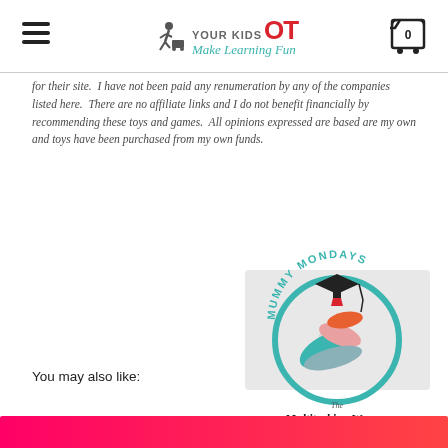YOUR KIDS OT — Make Learning Fun
for their site.  I have not been paid any renumeration by any of the companies listed here.  There are no affiliate links and I do not benefit financially by recommending these toys and games.  All opinions expressed are based are my own and toys have been purchased from my own funds.
[Figure (logo): Mummy Mondays badge with The Multitasking Woman logo — circular teal ring with graduation cap and colourful scroll/pencil illustration]
You may also like:
[Figure (photo): Bottom strip of a pink/red gradient image, partially visible at bottom of page]